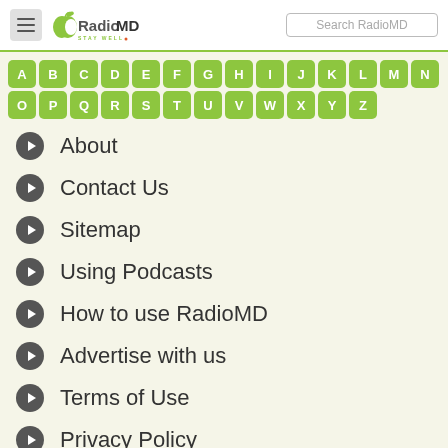[Figure (logo): RadioMD Stay Well logo with hamburger menu and search box]
[Figure (other): Alphabet navigation buttons A-Z in green rounded squares]
About
Contact Us
Sitemap
Using Podcasts
How to use RadioMD
Advertise with us
Terms of Use
Privacy Policy
Disclaimer